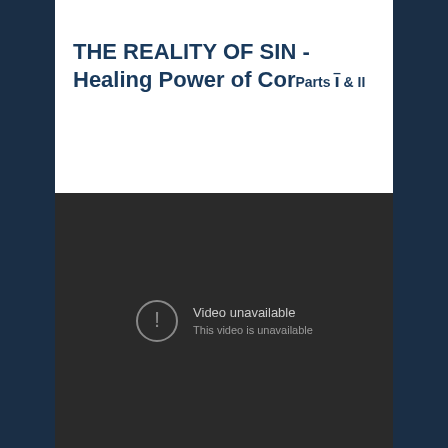THE REALITY OF SIN -Healing Power of Cor Parts I & II
[Figure (screenshot): Embedded video player showing 'Video unavailable - This video is unavailable' error message on a dark background.]